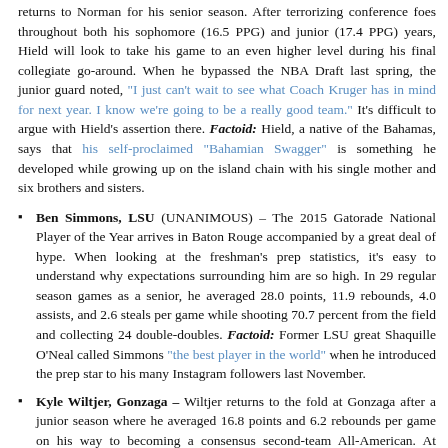returns to Norman for his senior season. After terrorizing conference foes throughout both his sophomore (16.5 PPG) and junior (17.4 PPG) years, Hield will look to take his game to an even higher level during his final collegiate go-around. When he bypassed the NBA Draft last spring, the junior guard noted, "I just can't wait to see what Coach Kruger has in mind for next year. I know we're going to be a really good team." It's difficult to argue with Hield's assertion there. Factoid: Hield, a native of the Bahamas, says that his self-proclaimed "Bahamian Swagger" is something he developed while growing up on the island chain with his single mother and six brothers and sisters.
Ben Simmons, LSU (UNANIMOUS) – The 2015 Gatorade National Player of the Year arrives in Baton Rouge accompanied by a great deal of hype. When looking at the freshman's prep statistics, it's easy to understand why expectations surrounding him are so high. In 29 regular season games as a senior, he averaged 28.0 points, 11.9 rebounds, 4.0 assists, and 2.6 steals per game while shooting 70.7 percent from the field and collecting 24 double-doubles. Factoid: Former LSU great Shaquille O'Neal called Simmons "the best player in the world" when he introduced the prep star to his many Instagram followers last November.
Kyle Wiltjer, Gonzaga – Wiltjer returns to the fold at Gonzaga after a junior season where he averaged 16.8 points and 6.2 rebounds per game on his way to becoming a consensus second-team All-American. At 6'10", Wiltjer's long-range shooting makes him a nightmarish match-up for Zags' opponents — he shot a sizzling 54 percent from the field and 46.6 percent from behind the three-point line a season ago. Factoid: When Wiltjer arrived in Spokane following his transfer from Kentucky, Wildcats head coach John Calipari called Gonzaga coach